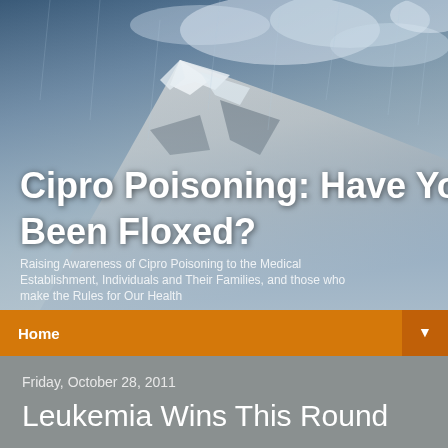[Figure (photo): Mountain peak with dramatic stormy cloudy sky, dark blue and grey tones, misty atmosphere]
Cipro Poisoning: Have You Been Floxed?
Raising Awareness of Cipro Poisoning to the Medical Establishment, Individuals and Their Families, and those who make the Rules for Our Health
Home ▼
Friday, October 28, 2011
Leukemia Wins This Round